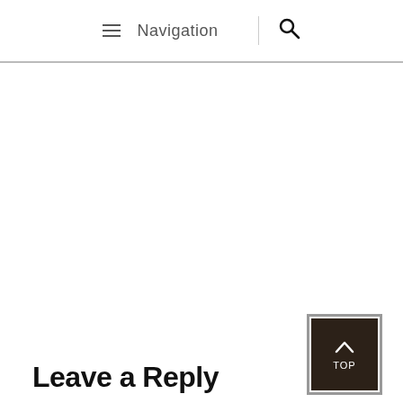≡ Navigation | 🔍
Leave a Reply